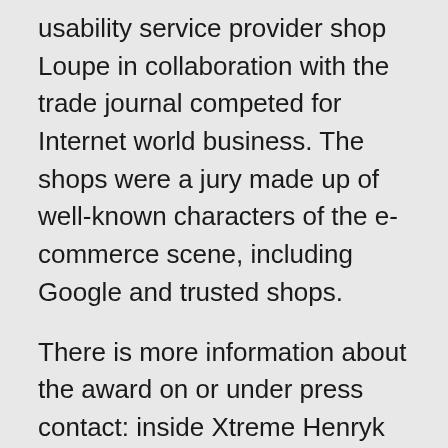usability service provider shop Loupe in collaboration with the trade journal competed for Internet world business. The shops were a jury made up of well-known characters of the e-commerce scene, including Google and trusted shops.
There is more information about the award on or under press contact: inside Xtreme Henryk Lippert-Geschaftsfuhrer-Warschauer Str. 58a 10243 Berlin Tel: + 49 (0) 30 2977 3698 0 fax: + 49 (0) 30 2977 3698 9 E-mail: Web: inside Xtreme was founded in 2005 by two Berliners Henryk Lippert and Torsten Heine. Initially, the products were expelled from the private living room. Since then, the company has become one of the top online shops in the area yourself and extreme sports. Office and storage rooms in the trendy Friedrichshain district could be rented 2008 thanks to rapid growth. Also inside Xtreme loads following: